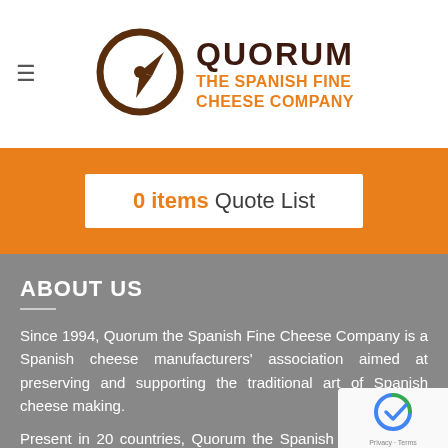Quorum The Spanish Fine Cheese Company
0 items Quote List
ABOUT US
Since 1994, Quorum the Spanish Fine Cheese Company is a Spanish cheese manufacturers' association aimed at preserving and supporting the traditional art of Spanish cheese making.
Present in 20 countries, Quorum the Spanish Fine Cheese Company provides a large range of internationally awarded Spanish cheeses carefully manufactured in the different